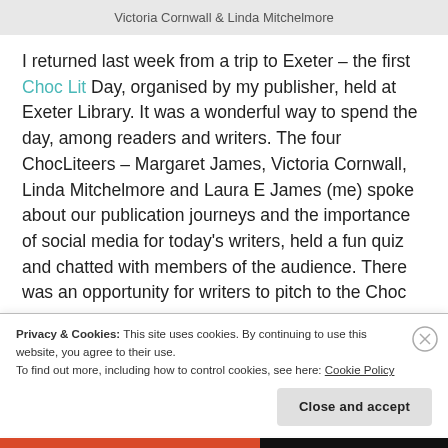Victoria Cornwall & Linda Mitchelmore
I returned last week from a trip to Exeter – the first Choc Lit Day, organised by my publisher, held at Exeter Library. It was a wonderful way to spend the day, among readers and writers. The four ChocLiteers – Margaret James, Victoria Cornwall, Linda Mitchelmore and Laura E James (me) spoke about our publication journeys and the importance of social media for today's writers, held a fun quiz and chatted with members of the audience. There was an opportunity for writers to pitch to the Choc
Privacy & Cookies: This site uses cookies. By continuing to use this website, you agree to their use.
To find out more, including how to control cookies, see here: Cookie Policy
Close and accept